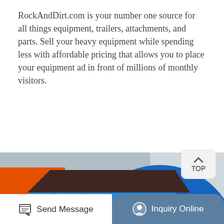RockAndDirt.com is your number one source for all things equipment, trailers, attachments, and parts. Sell your heavy equipment while spending less with affordable pricing that allows you to place your equipment ad in front of millions of monthly visitors.
[Figure (illustration): Blue 'Get Price' button with rounded corners and dark navy background]
[Figure (photo): Large industrial heavy equipment machine — a blue and orange crusher or screening machine photographed in an industrial setting]
[Figure (other): Bottom navigation bar with 'Send Message' on the left and 'Inquiry Online' button on the right with a teal/blue-grey rounded background]